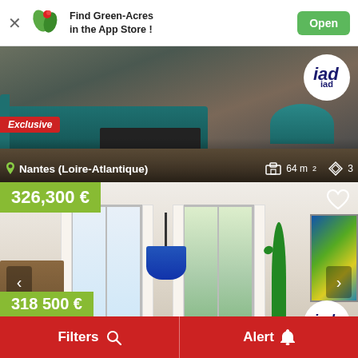[Figure (screenshot): App Store banner for Green-Acres app with logo, text and Open button]
[Figure (photo): Interior of an apartment in Nantes showing a teal sofa and coffee table with IAD agency logo. Marked Exclusive.]
Nantes (Loire-Atlantique)
64 m²
3
[Figure (photo): Interior of an apartment listing showing bright room with blue pendant lamp, white curtains, plants and painting. Price 326,300 €. Marked Exclusive. IAD logo.]
326,300 €
318,500 €
Filters
Alert